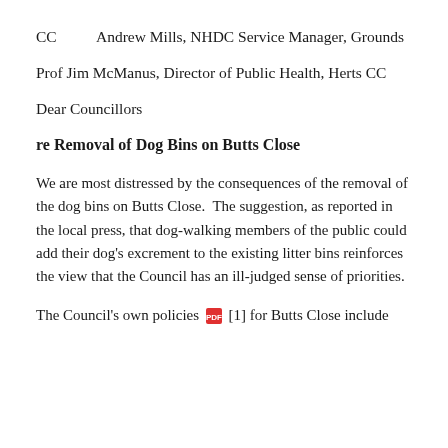CC        Andrew Mills, NHDC Service Manager, Grounds
Prof Jim McManus, Director of Public Health, Herts CC
Dear Councillors
re Removal of Dog Bins on Butts Close
We are most distressed by the consequences of the removal of the dog bins on Butts Close.  The suggestion, as reported in the local press, that dog-walking members of the public could add their dog's excrement to the existing litter bins reinforces the view that the Council has an ill-judged sense of priorities.
The Council's own policies [1] for Butts Close include